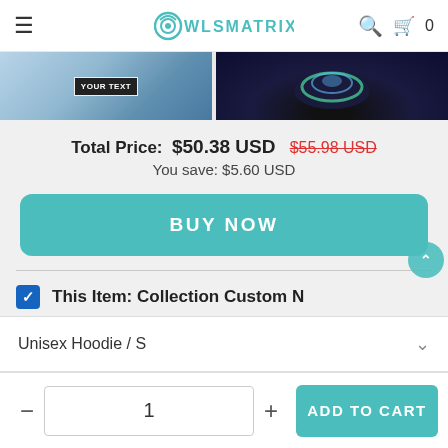OwlsMatrix navigation bar with hamburger menu, logo, search and cart icons
[Figure (photo): Two product images partially visible at top: left shows custom text on a product with 'YOUR TEXT' placeholder, right shows a colorful product on dark background]
Total Price: $50.38 USD  $55.98 USD
You save: $5.60 USD
BUY NOW
This Item: Collection Custom N
Unisex Hoodie / S
Unisex Hoodie / S
1
ADD TO CART